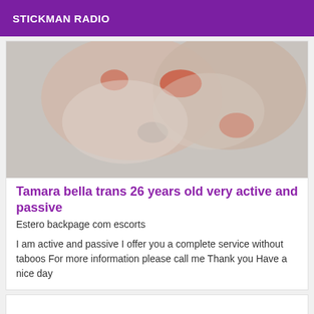STICKMAN RADIO
[Figure (photo): Close-up blurred photo of a person wearing a red and white outfit]
Tamara bella trans 26 years old very active and passive
Estero backpage com escorts
I am active and passive I offer you a complete service without taboos For more information please call me Thank you Have a nice day